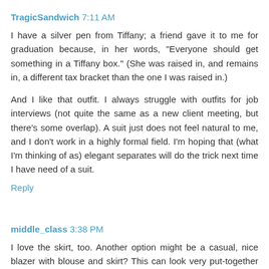TragicSandwich 7:11 AM
I have a silver pen from Tiffany; a friend gave it to me for graduation because, in her words, "Everyone should get something in a Tiffany box." (She was raised in, and remains in, a different tax bracket than the one I was raised in.)
And I like that outfit. I always struggle with outfits for job interviews (not quite the same as a new client meeting, but there's some overlap). A suit just does not feel natural to me, and I don't work in a highly formal field. I'm hoping that (what I'm thinking of as) elegant separates will do the trick next time I have need of a suit.
Reply
middle_class 3:38 PM
I love the skirt, too. Another option might be a casual, nice blazer with blouse and skirt? This can look very put-together without the formality of a matching suit.